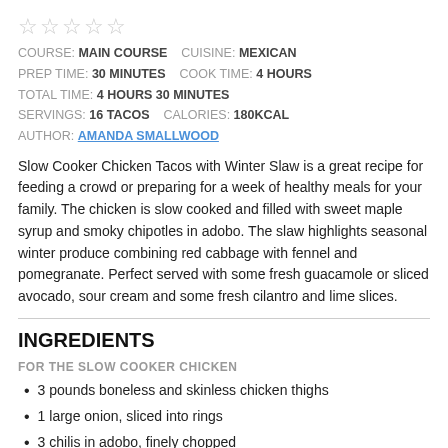[Figure (other): Five empty star rating icons]
COURSE: MAIN COURSE   CUISINE: MEXICAN
PREP TIME: 30 MINUTES   COOK TIME: 4 HOURS
TOTAL TIME: 4 HOURS 30 MINUTES
SERVINGS: 16 TACOS   CALORIES: 180KCAL
AUTHOR: AMANDA SMALLWOOD
Slow Cooker Chicken Tacos with Winter Slaw is a great recipe for feeding a crowd or preparing for a week of healthy meals for your family. The chicken is slow cooked and filled with sweet maple syrup and smoky chipotles in adobo. The slaw highlights seasonal winter produce combining red cabbage with fennel and pomegranate. Perfect served with some fresh guacamole or sliced avocado, sour cream and some fresh cilantro and lime slices.
INGREDIENTS
FOR THE SLOW COOKER CHICKEN
3 pounds boneless and skinless chicken thighs
1 large onion, sliced into rings
3 chilis in adobo, finely chopped